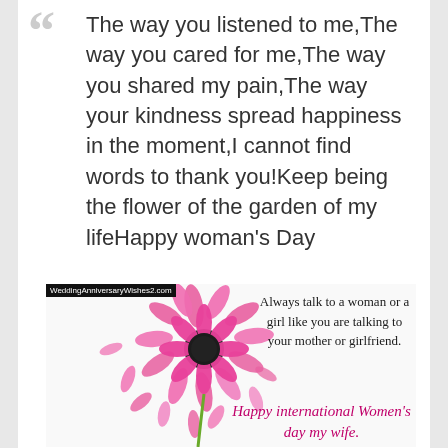The way you listened to me,The way you cared for me,The way you shared my pain,The way your kindness spread happiness in the moment,I cannot find words to thank you!Keep being the flower of the garden of my lifeHappy woman's Day
[Figure (illustration): A pink gerbera daisy flower with scattered pink petals arranged in a circular pattern on a white background. Watermark reads WeddingAnniversaryWishes2.com. Text on the right: 'Always talk to a woman or a girl like you are talking to your mother or girlfriend.' Cursive text at bottom: 'Happy international Women's day my wife.']